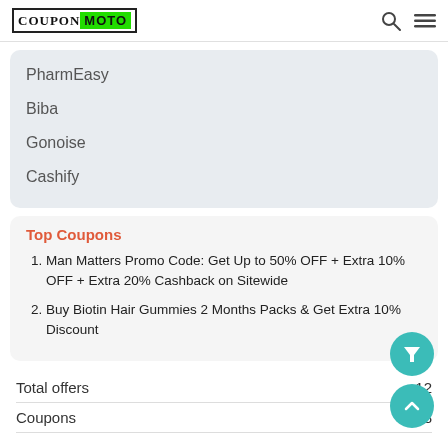CouponMoto
PharmEasy
Biba
Gonoise
Cashify
Top Coupons
1. Man Matters Promo Code: Get Up to 50% OFF + Extra 10% OFF + Extra 20% Cashback on Sitewide
2. Buy Biotin Hair Gummies 2 Months Packs & Get Extra 10% Discount
Total offers
Coupons